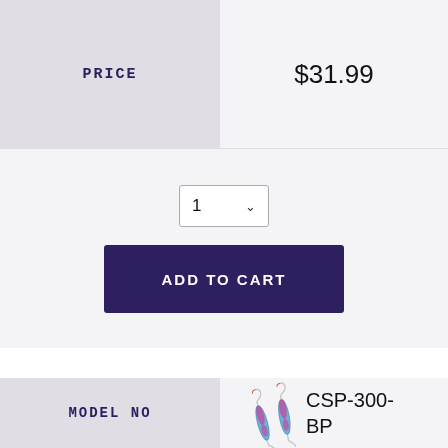| PRICE | $31.99 |
| --- | --- |
1 (quantity selector dropdown)
ADD TO CART
| MODEL NO | CSP-300-BP |
| --- | --- |